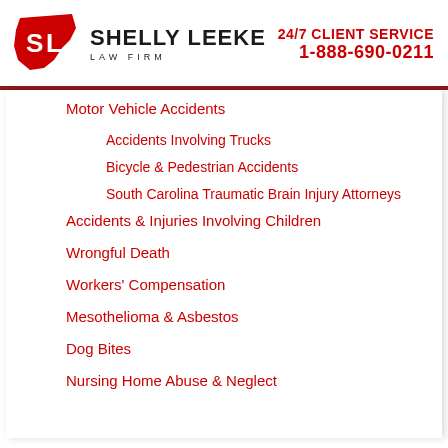SHELLY LEEKE LAW FIRM | 24/7 CLIENT SERVICE 1-888-690-0211
Motor Vehicle Accidents
Accidents Involving Trucks
Bicycle & Pedestrian Accidents
South Carolina Traumatic Brain Injury Attorneys
Accidents & Injuries Involving Children
Wrongful Death
Workers' Compensation
Mesothelioma & Asbestos
Dog Bites
Nursing Home Abuse & Neglect